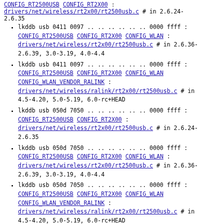lkddb usb 0411 0097 .. .. .. .. .. .. 0000 ffff : CONFIG_RT2500USB CONFIG_RT2X00 : drivers/net/wireless/rt2x00/rt2500usb.c # in 2.6.24-2.6.35
lkddb usb 0411 0097 .. .. .. .. .. .. 0000 ffff : CONFIG_RT2500USB CONFIG_RT2X00 CONFIG_WLAN : drivers/net/wireless/rt2x00/rt2500usb.c # in 2.6.36-2.6.39, 3.0-3.19, 4.0-4.4
lkddb usb 0411 0097 .. .. .. .. .. .. 0000 ffff : CONFIG_RT2500USB CONFIG_RT2X00 CONFIG_WLAN CONFIG_WLAN_VENDOR_RALINK : drivers/net/wireless/ralink/rt2x00/rt2500usb.c # in 4.5-4.20, 5.0-5.19, 6.0-rc+HEAD
lkddb usb 050d 7050 .. .. .. .. .. .. 0000 ffff : CONFIG_RT2500USB CONFIG_RT2X00 : drivers/net/wireless/rt2x00/rt2500usb.c # in 2.6.24-2.6.35
lkddb usb 050d 7050 .. .. .. .. .. .. 0000 ffff : CONFIG_RT2500USB CONFIG_RT2X00 CONFIG_WLAN : drivers/net/wireless/rt2x00/rt2500usb.c # in 2.6.36-2.6.39, 3.0-3.19, 4.0-4.4
lkddb usb 050d 7050 .. .. .. .. .. .. 0000 ffff : CONFIG_RT2500USB CONFIG_RT2X00 CONFIG_WLAN CONFIG_WLAN_VENDOR_RALINK : drivers/net/wireless/ralink/rt2x00/rt2500usb.c # in 4.5-4.20, 5.0-5.19, 6.0-rc+HEAD
lkddb usb 050d 7051 .. .. .. .. .. .. 0000 ffff : CONFIG_RT2500USB CONFIG_RT2X00 : drivers/net/wireless/rt2x00/rt2500usb.c # in 2.6.24-2.6.35
lkddb usb 050d 7051 .. .. .. .. .. .. 0000 ffff : CONFIG_RT2500USB CONFIG_RT2X00 CONFIG_WLAN :